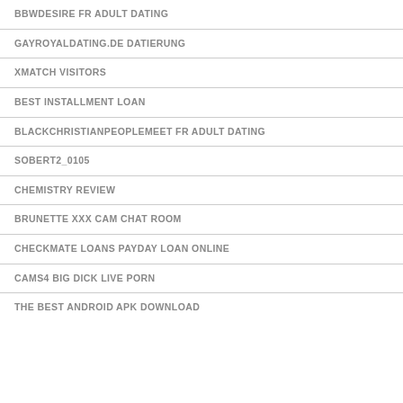BBWDESIRE FR ADULT DATING
GAYROYALDATING.DE DATIERUNG
XMATCH VISITORS
BEST INSTALLMENT LOAN
BLACKCHRISTIANPEOPLEMEET FR ADULT DATING
SOBERT2_0105
CHEMISTRY REVIEW
BRUNETTE XXX CAM CHAT ROOM
CHECKMATE LOANS PAYDAY LOAN ONLINE
CAMS4 BIG DICK LIVE PORN
THE BEST ANDROID APK DOWNLOAD